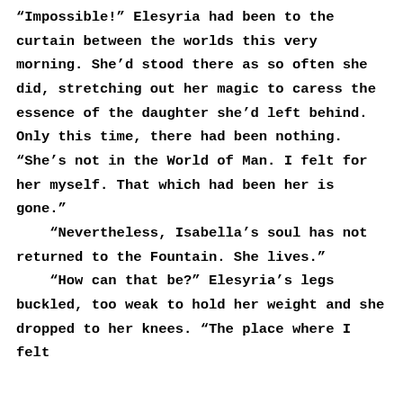“Impossible!” Elesyria had been to the curtain between the worlds this very morning. She’d stood there as so often she did, stretching out her magic to caress the essence of the daughter she’d left behind. Only this time, there had been nothing. “She’s not in the World of Man. I felt for her myself. That which had been her is gone.”
“Nevertheless, Isabella’s soul has not returned to the Fountain. She lives.”
“How can that be?” Elesyria’s legs buckled, too weak to hold her weight and she dropped to her knees. “The place where I felt